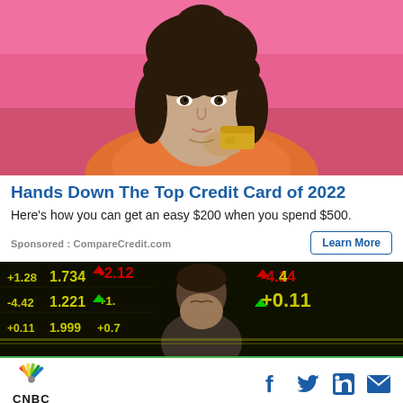[Figure (photo): Woman with dark hair holding a gold/yellow credit card near her face, against a pink background, wearing an orange top]
Hands Down The Top Credit Card of 2022
Here's how you can get an easy $200 when you spend $500.
Sponsored : CompareCredit.com
[Figure (photo): Man in suit looking down stressed, in front of a stock market ticker board showing numbers like 1.734, -2.12, +1.28, -4.42, 1.221, +0.11, etc. in yellow/green on dark background]
CNBC — with social media icons for Facebook, Twitter, LinkedIn, Email